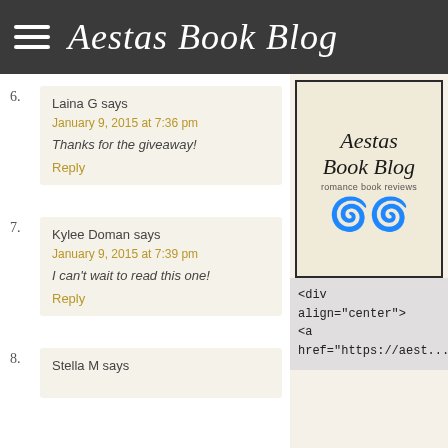Aestas Book Blog
6. Laina G says
January 9, 2015 at 7:36 pm
Thanks for the giveaway!
Reply
7. Kylee Doman says
January 9, 2015 at 7:39 pm
I can't wait to read this one!
Reply
8. Stella M says
[Figure (logo): Aestas Book Blog logo with decorative swirls and text 'romance book reviews']
<div align="center">
<a
href="https://aest...